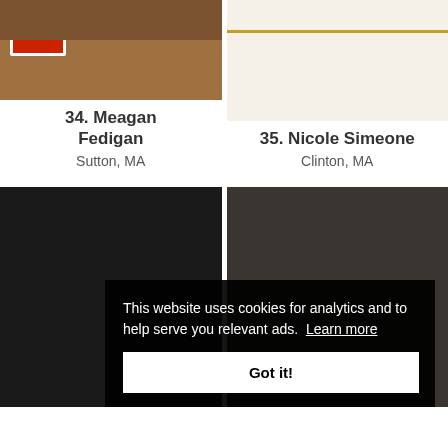[Figure (photo): Gingerbread house with green decorations and red door, Meagan Fedigan entry]
34. Meagan Fedigan
Sutton, MA
[Figure (photo): White fondant cake with gold lettering, Nicole Simeone entry]
35. Nicole Simeone
Clinton, MA
[Figure (photo): Dark geometric glass greenhouse gingerbread structure with green trees]
[Figure (photo): White brick-textured gingerbread house with holly decoration]
This website uses cookies for analytics and to help serve you relevant ads. Learn more
Got it!